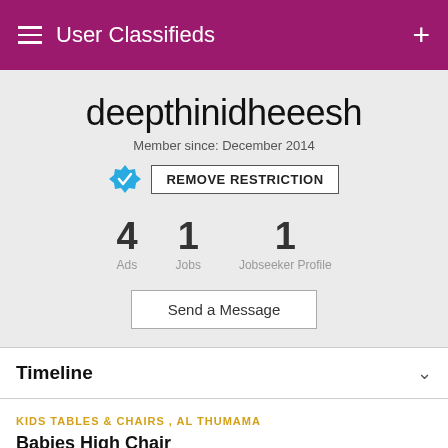User Classifieds
deepthinidheeesh
Member since: December 2014
REMOVE RESTRICTION
4 Ads   1 Jobs   1 Jobseeker Profile
Send a Message
Timeline
KIDS TABLES & CHAIRS , AL THUMAMA
Babies High Chair